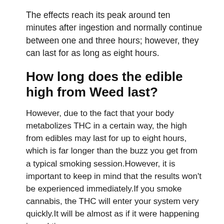The effects reach its peak around ten minutes after ingestion and normally continue between one and three hours; however, they can last for as long as eight hours.
How long does the edible high from Weed last?
However, due to the fact that your body metabolizes THC in a certain way, the high from edibles may last for up to eight hours, which is far longer than the buzz you get from a typical smoking session.However, it is important to keep in mind that the results won't be experienced immediately.If you smoke cannabis, the THC will enter your system very quickly.It will be almost as if it were happening in real time.